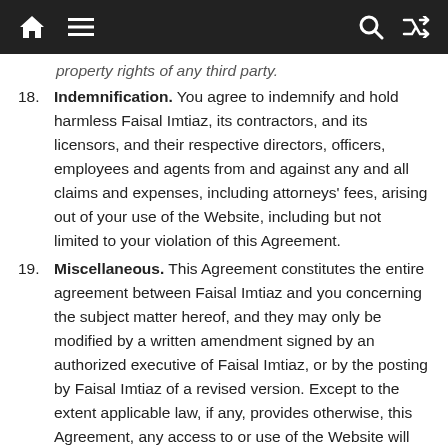Navigation bar with home, menu, search, and shuffle icons
property rights of any third party.
18. Indemnification. You agree to indemnify and hold harmless Faisal Imtiaz, its contractors, and its licensors, and their respective directors, officers, employees and agents from and against any and all claims and expenses, including attorneys' fees, arising out of your use of the Website, including but not limited to your violation of this Agreement.
19. Miscellaneous. This Agreement constitutes the entire agreement between Faisal Imtiaz and you concerning the subject matter hereof, and they may only be modified by a written amendment signed by an authorized executive of Faisal Imtiaz, or by the posting by Faisal Imtiaz of a revised version. Except to the extent applicable law, if any, provides otherwise, this Agreement, any access to or use of the Website will be governed by the laws of the Punjab, excluding its conflict of law provisions, and the proper venue for any disputes arising out of or relating to any of the same will be